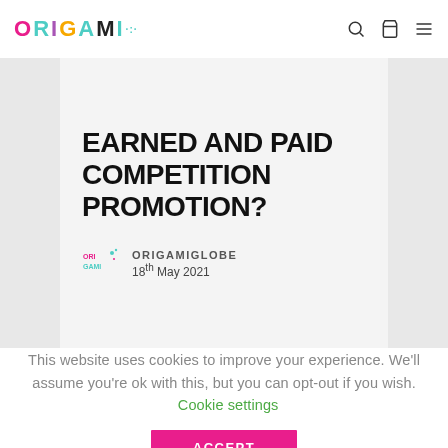ORIGAMI
EARNED AND PAID COMPETITION PROMOTION?
ORIGAMIGLOBE
18th May 2021
This website uses cookies to improve your experience. We'll assume you're ok with this, but you can opt-out if you wish.  Cookie settings  ACCEPT